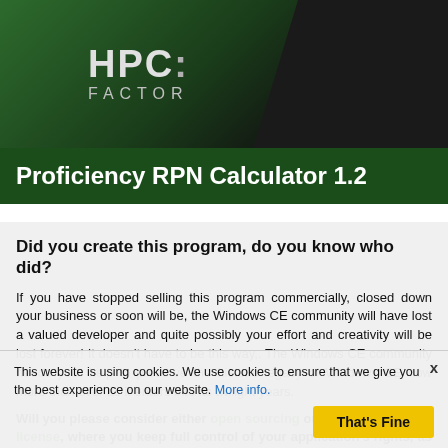[Figure (logo): HPC:Factor logo with green angled background and circle graphic]
Proficiency RPN Calculator 1.2
Did you create this program, do you know who did?
If you have stopped selling this program commercially, closed down your business or soon will be, the Windows CE community will have lost a valued developer and quite possibly your effort and creativity will be lost forever! It doesn't have to be this way,. The Windows CE community needs your help to preserve the historic legacy of Windows CE now more than ever as it enters into its twilight years.
Will you please consider either open sourcing or donating this application under a freeware license, where you keep full control of your application's rights, as it benefits the community. This allows the community to benefit from your ef...
Please contact the webmaster if you are interested or would...
This website is using cookies. We use cookies to ensure that we give you the best experience on our website. More info. That's Fine